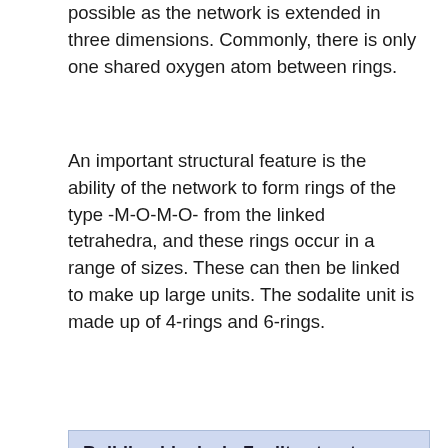possible as the network is extended in three dimensions. Commonly, there is only one shared oxygen atom between rings.
An important structural feature is the ability of the network to form rings of the type -M-O-M-O- from the linked tetrahedra, and these rings occur in a range of sizes. These can then be linked to make up large units. The sodalite unit is made up of 4-rings and 6-rings.
| Bent M-O-M link | 6-ring | sodalite unit |
| --- | --- | --- |
|  |  |  |